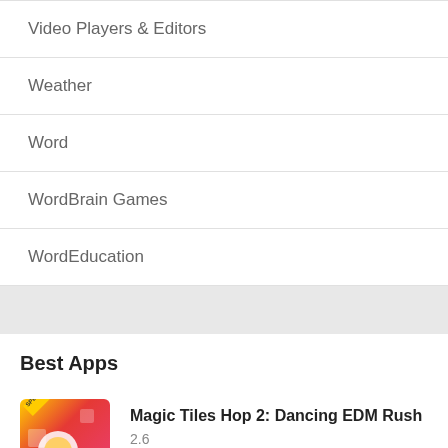Video Players & Editors
Weather
Word
WordBrain Games
WordEducation
Best Apps
Magic Tiles Hop 2: Dancing EDM Rush
2.6
★
Khmer Lunar Calendar
4.1.2